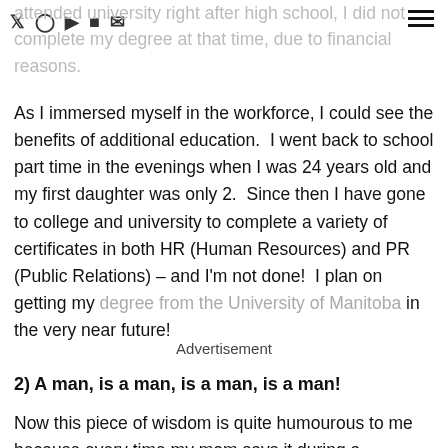attended university right after high school, I did not complete my degree at that time, due to financial reasons.
As I immersed myself in the workforce, I could see the benefits of additional education. I went back to school part time in the evenings when I was 24 years old and my first daughter was only 2. Since then I have gone to college and university to complete a variety of certificates in both HR (Human Resources) and PR (Public Relations) – and I'm not done! I plan on getting my degree from the University of Manitoba in the very near future!
Advertisement
2) A man, is a man, is a man, is a man!
Now this piece of wisdom is quite humourous to me because every time my mom says it during a situation, I have to nod my head in agreement! Essentially, it's a tidbit she also heard from her